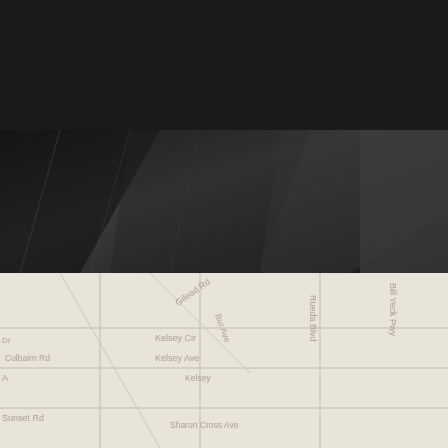Daetwyler SwissTec — ES navigation header
[Figure (logo): Daetwyler SwissTec logo with circular emblem icon, orange italic Daetwyler text, white SwissTec subtitle]
[Figure (photo): Dark monochrome photo strip showing industrial/fabric material in background]
[Figure (map): Street map background in light beige/tan color showing road names including Gilead Rd, Rueda Blvd, Bur Ave, Kennedy Ave, Culbairn Rd, Bill Yeck Pwy and others]